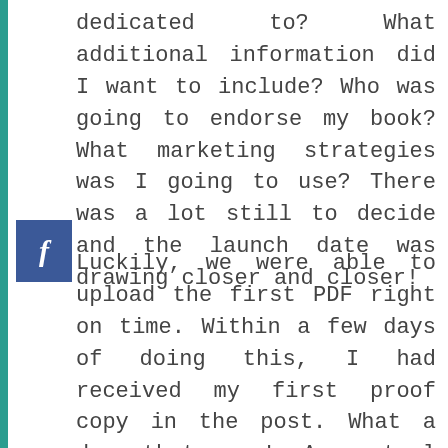dedicated to? What additional information did I want to include? Who was going to endorse my book? What marketing strategies was I going to use? There was a lot still to decide and the launch date was drawing closer and closer!
Luckily, we were able to upload the first PDF right on time. Within a few days of doing this, I had received my first proof copy in the post. What a day that was! An actual book, with my actual name on, in my actual hands.